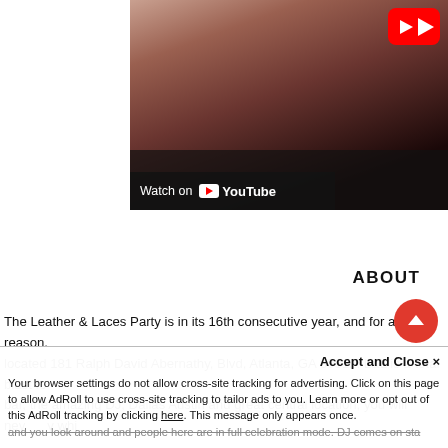[Figure (screenshot): YouTube video thumbnail showing a woman, with red YouTube play button in top-right corner and 'Watch on YouTube' bar at the bottom]
ABOUT
The Leather & Laces Party is in its 16th consecutive year, and for a good reason. located 181 Ralph David Abernathy, Blvd, Atlanta, GA 30312. L&L is a total blast fo... bar, the amazing DJ, Dallas Austin and great central location, you will never forget which will be performing and turning this sexy party up! In New York...
Accept and Close ✕
Your browser settings do not allow cross-site tracking for advertising. Click on this page to allow AdRoll to use cross-site tracking to tailor ads to you. Learn more or opt out of this AdRoll tracking by clicking here. This message only appears once.